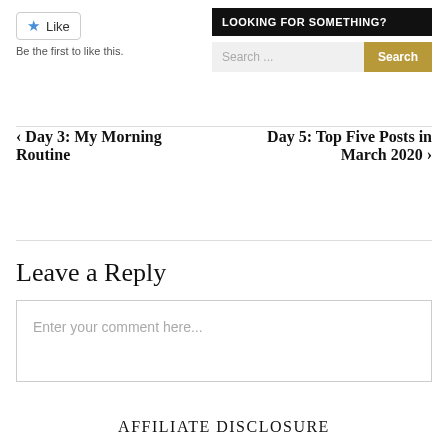[Figure (other): Like button with blue star icon and text 'Like']
Be the first to like this.
LOOKING FOR SOMETHING?
Search ...
‹ Day 3: My Morning Routine
Day 5: Top Five Posts in March 2020 ›
Leave a Reply
Enter your comment here...
AFFILIATE DISCLOSURE